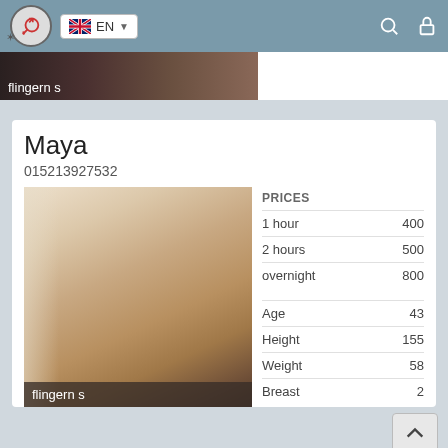EN
flingern s
Maya
015213927532
[Figure (photo): Person posing near a wall, partially visible, warm tones]
flingern s
|  |  |
| --- | --- |
| PRICES |  |
| 1 hour | 400 |
| 2 hours | 500 |
| overnight | 800 |
| Age | 43 |
| Height | 155 |
| Weight | 58 |
| Breast | 2 |